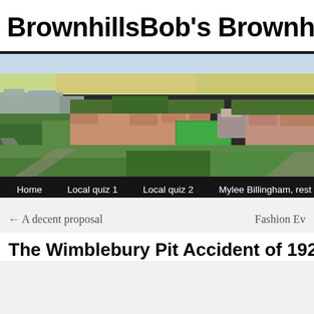BrownhillsBob's Brownhills B
[Figure (photo): Aerial photograph of Brownhills town showing residential streets, trees, fields in the background, industrial buildings on the left, and a green sports field in the center-right. Navigation bar below with links: Home, Local quiz 1, Local quiz 2, Mylee Billingham, rest in peace]
Home   Local quiz 1   Local quiz 2   Mylee Billingham, rest in peac
← A decent proposal
Fashion Ev
The Wimblebury Pit Accident of 1927: A C